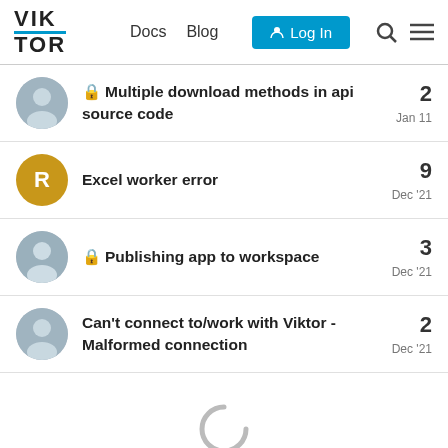VIK TOR | Docs | Blog | Log In
Multiple download methods in api source code | 2 | Jan 11
Excel worker error | 9 | Dec '21
Publishing app to workspace | 3 | Dec '21
Can't connect to/work with Viktor - Malformed connection | 2 | Dec '21
[Figure (other): Loading spinner (letter C arc shape) indicating content loading]